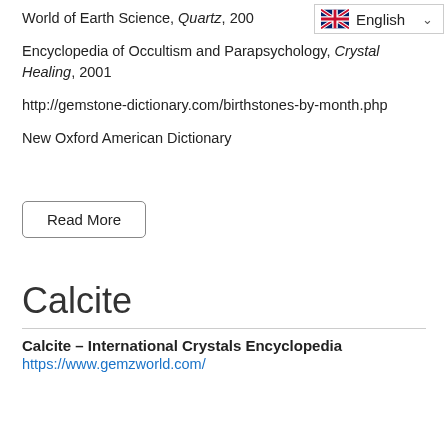World of Earth Science, Quartz, 200[x]
Encyclopedia of Occultism and Parapsychology, Crystal Healing, 2001
http://gemstone-dictionary.com/birthstones-by-month.php
New Oxford American Dictionary
Read More
Calcite
Calcite – International Crystals Encyclopedia
https://www.gemzworld.com/